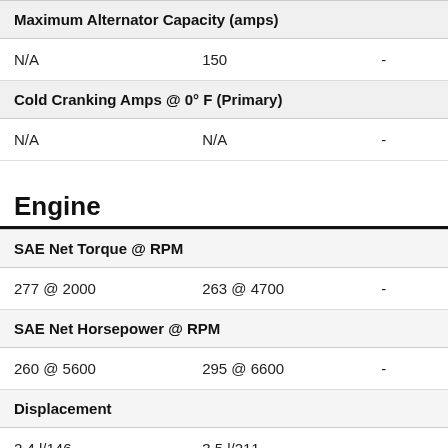Maximum Alternator Capacity (amps)
| N/A | 150 | - |
| Cold Cranking Amps @ 0° F (Primary) |  |  |
| N/A | N/A | - |
Engine
| SAE Net Torque @ RPM |  |  |
| 277 @ 2000 | 263 @ 4700 | - |
| SAE Net Horsepower @ RPM |  |  |
| 260 @ 5600 | 295 @ 6600 | - |
| Displacement |  |  |
| 2.4 l/146 | 3.5 l/211 | - |